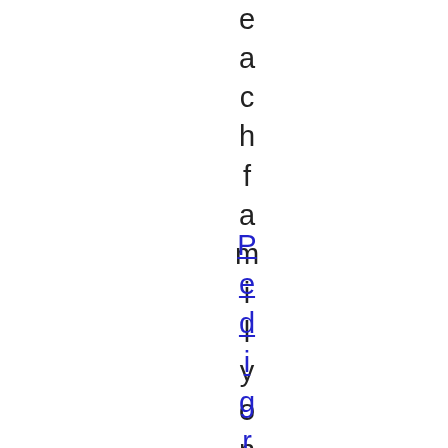each family yona
PedigreeChart(thi